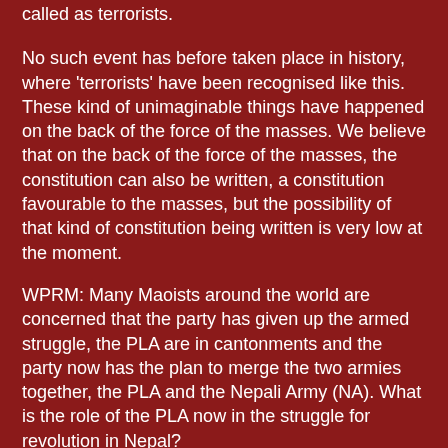called as terrorists.
No such event has before taken place in history, where 'terrorists' have been recognised like this. These kind of unimaginable things have happened on the back of the force of the masses. We believe that on the back of the force of the masses, the constitution can also be written, a constitution favourable to the masses, but the possibility of that kind of constitution being written is very low at the moment.
WPRM: Many Maoists around the world are concerned that the party has given up the armed struggle, the PLA are in cantonments and the party now has the plan to merge the two armies together, the PLA and the Nepali Army (NA). What is the role of the PLA now in the struggle for revolution in Nepal?
Com. Binod: The PLA is under the control of UNMIN and a special team, the Army Integration Committee. But practically the PLA is under the control of the Maoist party. Even though the weapons are in containers, the key of those containers is in our hands. We talked to the lower members of the NA...